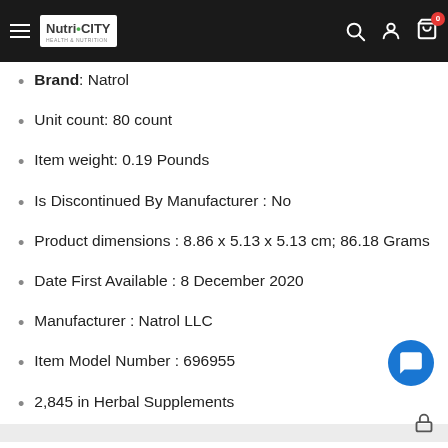NutriCity — navigation bar with logo, search, account, cart (0)
Brand: Natrol
Unit count: 80 count
Item weight: 0.19 Pounds
Is Discontinued By Manufacturer : No
Product dimensions : 8.86 x 5.13 x 5.13 cm; 86.18 Grams
Date First Available : 8 December 2020
Manufacturer : Natrol LLC
Item Model Number : 696955
2,845 in Herbal Supplements
Secure Payments using Stripe All